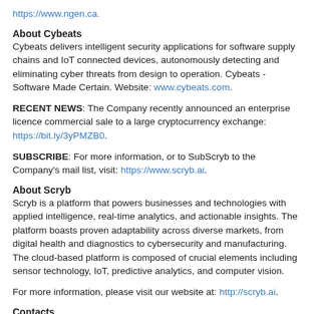https://www.ngen.ca.
About Cybeats
Cybeats delivers intelligent security applications for software supply chains and IoT connected devices, autonomously detecting and eliminating cyber threats from design to operation. Cybeats - Software Made Certain. Website: www.cybeats.com.
RECENT NEWS: The Company recently announced an enterprise licence commercial sale to a large cryptocurrency exchange: https://bit.ly/3yPMZB0.
SUBSCRIBE: For more information, or to SubScryb to the Company's mail list, visit: https://www.scryb.ai.
About Scryb
Scryb is a platform that powers businesses and technologies with applied intelligence, real-time analytics, and actionable insights. The platform boasts proven adaptability across diverse markets, from digital health and diagnostics to cybersecurity and manufacturing. The cloud-based platform is composed of crucial elements including sensor technology, IoT, predictive analytics, and computer vision.
For more information, please visit our website at: http://scryb.ai.
Contacts